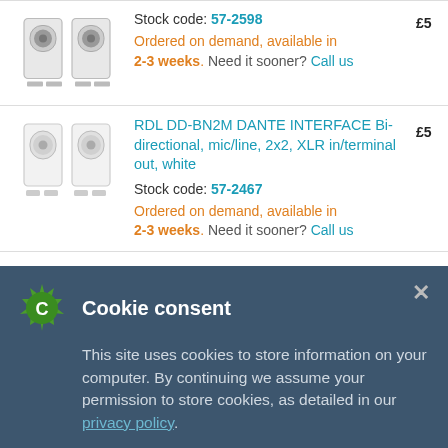Stock code: 57-2598
Ordered on demand, available in 2-3 weeks. Need it sooner? Call us
RDL DD-BN2M DANTE INTERFACE Bi-directional, mic/line, 2x2, XLR in/terminal out, white
Stock code: 57-2467
Ordered on demand, available in 2-3 weeks. Need it sooner? Call us
RDL DDB-BN2M DANTE INTERFACE Bi-directional, mic/line, 2x2, XLR in/terminal out, black
Cookie consent
This site uses cookies to store information on your computer. By continuing we assume your permission to store cookies, as detailed in our privacy policy.